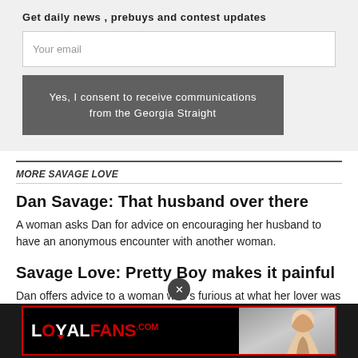Get daily news , prebuys and contest updates
Your email
Yes, I consent to receive communications from the Georgia Straight
MORE SAVAGE LOVE
Dan Savage: That husband over there
A woman asks Dan for advice on encouraging her husband to have an anonymous encounter with another woman.
Savage Love: Pretty Boy makes it painful
Dan offers advice to a woman who's furious at what her lover was really up to in the bedroom.
[Figure (advertisement): LoyalFans.com advertisement banner with red and white logo on black background, with a woman image on the right side.]